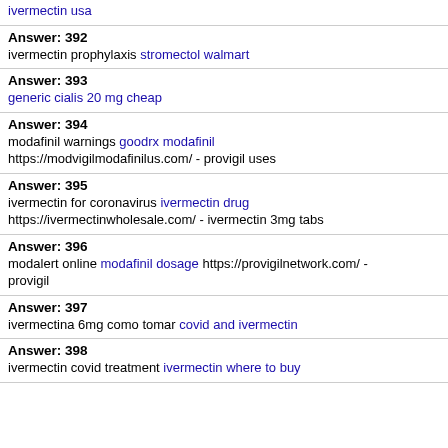Answer: 391
ivermectin usa
Answer: 392
ivermectin prophylaxis stromectol walmart
Answer: 393
generic cialis 20 mg cheap
Answer: 394
modafinil warnings goodrx modafinil https://modvigilmodafinilus.com/ - provigil uses
Answer: 395
ivermectin for coronavirus ivermectin drug https://ivermectinwholesale.com/ - ivermectin 3mg tabs
Answer: 396
modalert online modafinil dosage https://provigilnetwork.com/ - provigil
Answer: 397
ivermectina 6mg como tomar covid and ivermectin
Answer: 398
ivermectin covid treatment ivermectin where to buy